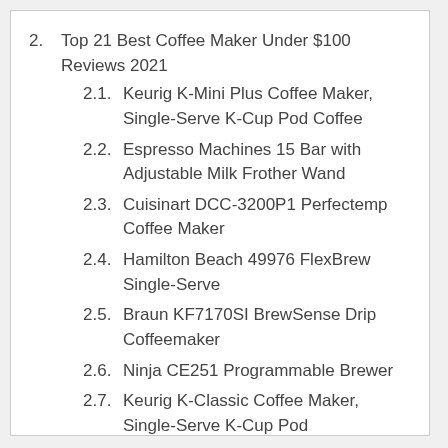2. Top 21 Best Coffee Maker Under $100 Reviews 2021
2.1. Keurig K-Mini Plus Coffee Maker, Single-Serve K-Cup Pod Coffee
2.2. Espresso Machines 15 Bar with Adjustable Milk Frother Wand
2.3. Cuisinart DCC-3200P1 Perfectemp Coffee Maker
2.4. Hamilton Beach 49976 FlexBrew Single-Serve
2.5. Braun KF7170SI BrewSense Drip Coffeemaker
2.6. Ninja CE251 Programmable Brewer
2.7. Keurig K-Classic Coffee Maker, Single-Serve K-Cup Pod
2.8. Singles Serve Coffee Makers For K Cup Pod & Coffee Ground